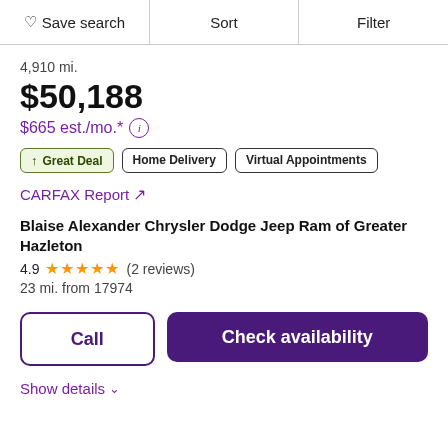Save search  Sort  Filter
4,910 mi.
$50,188
$665 est./mo.*
↑ Great Deal
Home Delivery
Virtual Appointments
CARFAX Report ↗
Blaise Alexander Chrysler Dodge Jeep Ram of Greater Hazleton
4.9 ★★★★★ (2 reviews)
23 mi. from 17974
Call
Check availability
Show details ∨